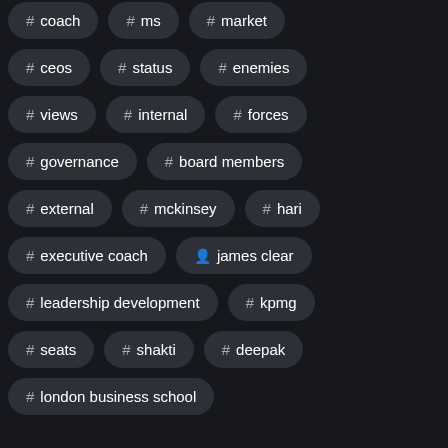# coach
# ms
# market
# ceos
# status
# enemies
# views
# internal
# forces
# governance
# board members
# external
# mckinsey
# hari
# executive coach
person james clear
# leadership development
# kpmg
# seats
# shakti
# deepak
# london business school